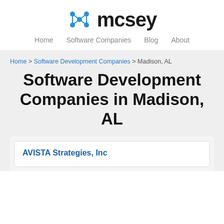[Figure (logo): mcsey logo with blue network/node icon on the left and bold dark text 'mcsey' on the right]
Home   Software Companies   Blog   About
Home > Software Development Companies > Madison, AL
Software Development Companies in Madison, AL
AVISTA Strategies, Inc